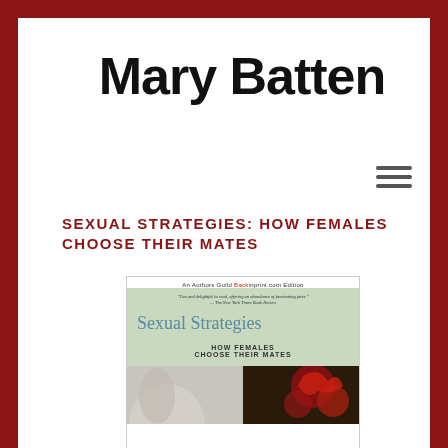Mary Batten
SEXUAL STRATEGIES: HOW FEMALES CHOOSE THEIR MATES
[Figure (illustration): Book cover of 'Sexual Strategies: How Females Choose Their Mates' by Mary Batten. An Authors Guild Backinprint.com Edition. Green background with a quote from The New York Times Book Review at top, title 'Sexual Strategies' in teal, subtitle 'HOW FEMALES CHOOSE THEIR MATES' below, and a split photo of a human torso and red flowers/dark hair at the bottom.]